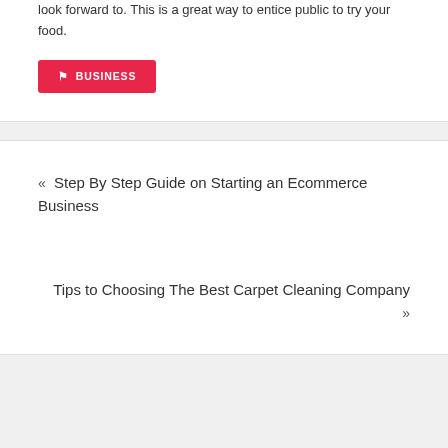look forward to. This is a great way to entice public to try your food.
BUSINESS
« Step By Step Guide on Starting an Ecommerce Business
Tips to Choosing The Best Carpet Cleaning Company »